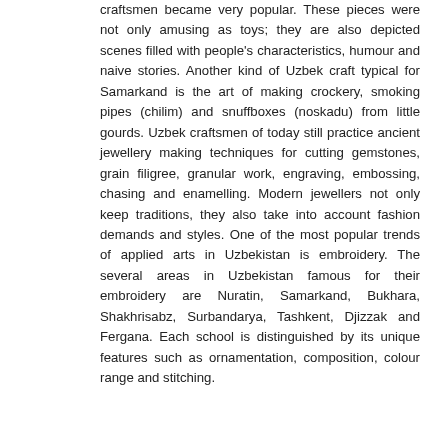craftsmen became very popular. These pieces were not only amusing as toys; they are also depicted scenes filled with people's characteristics, humour and naive stories. Another kind of Uzbek craft typical for Samarkand is the art of making crockery, smoking pipes (chilim) and snuffboxes (noskadu) from little gourds. Uzbek craftsmen of today still practice ancient jewellery making techniques for cutting gemstones, grain filigree, granular work, engraving, embossing, chasing and enamelling. Modern jewellers not only keep traditions, they also take into account fashion demands and styles. One of the most popular trends of applied arts in Uzbekistan is embroidery. The several areas in Uzbekistan famous for their embroidery are Nuratin, Samarkand, Bukhara, Shakhrisabz, Surbandarya, Tashkent, Djizzak and Fergana. Each school is distinguished by its unique features such as ornamentation, composition, colour range and stitching.